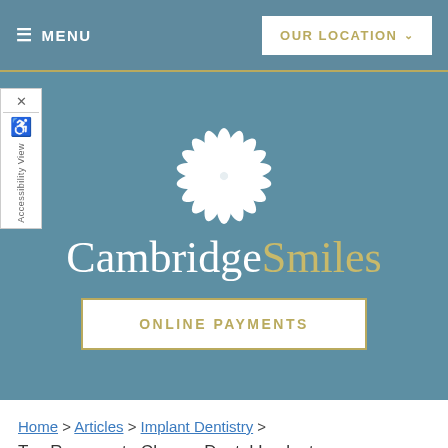≡ MENU | OUR LOCATION ∨
[Figure (logo): Cambridge Smiles dental practice logo with white flower/petal graphic above the text 'CambridgeSmiles' and an 'ONLINE PAYMENTS' button below, all on a teal/steel blue background]
Home > Articles > Implant Dentistry > Top Reasons to Choose Dental Implants
TOP REASONS TO CHOOSE DENTAL IMPLANTS